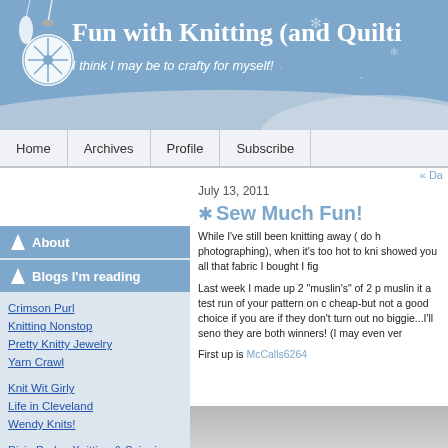Fun with Knitting (and Quilting)
I think I may be to crafty for myself!
Home | Archives | Profile | Subscribe
« Da
About
Blogs I'm reading
Crimson Purl
Knitting Nonstop
Pretty Knitty Jewelry
Yarn Crawl
Knit Wit Girly
Life in Cleveland
Wendy Knits!
Pixie Purls - Knitting & Spinning - Blog & Podcast
July 13, 2011
✱ Sew Much Fun!
While I've still been knitting away ( do h photographing), when it's too hot to kni showed you all that fabric I bought I fig
Last week I made up 2 "muslin's" of 2 p muslin it a test run of your pattern on c cheap-but not a good choice if you are if they don't turn out no biggie...I'll seno they are both winners! (I may even ver
First up is McCalls6264
[Figure (photo): Photo of fabric/sewing project at bottom of page]